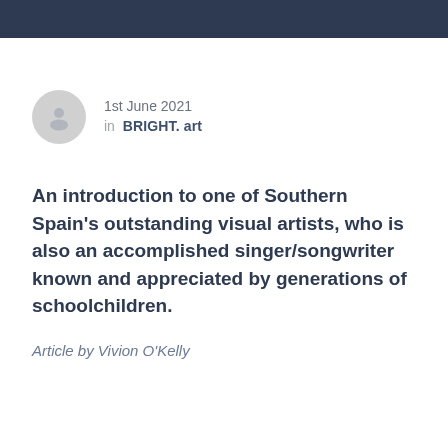1st June 2021
in  BRIGHT. art
An introduction to one of Southern Spain's outstanding visual artists, who is also an accomplished singer/songwriter known and appreciated by generations of schoolchildren.
Article by Vivion O'Kelly